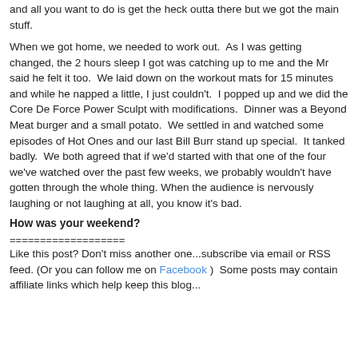and all you want to do is get the heck outta there but we got the main stuff.
When we got home, we needed to work out.  As I was getting changed, the 2 hours sleep I got was catching up to me and the Mr said he felt it too.  We laid down on the workout mats for 15 minutes and while he napped a little, I just couldn't.  I popped up and we did the Core De Force Power Sculpt with modifications.  Dinner was a Beyond Meat burger and a small potato.  We settled in and watched some episodes of Hot Ones and our last Bill Burr stand up special.  It tanked badly.  We both agreed that if we'd started with that one of the four we've watched over the past few weeks, we probably wouldn't have gotten through the whole thing.  When the audience is nervously laughing or not laughing at all, you know it's bad.
How was your weekend?
===================
Like this post? Don't miss another one...subscribe via email or RSS feed. (Or you can follow me on Facebook )  Some posts may contain affiliate links which help keep this blog...